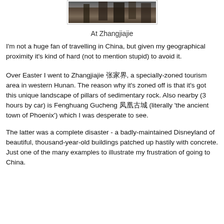[Figure (photo): Partial view of Zhangjiajie rock pillars landscape, dark stone cliffs]
At Zhangjiajie
I'm not a huge fan of travelling in China, but given my geographical proximity it's kind of hard (not to mention stupid) to avoid it.
Over Easter I went to Zhangjiajie 张家界, a specially-zoned tourism area in western Hunan. The reason why it's zoned off is that it's got this unique landscape of pillars of sedimentary rock. Also nearby (3 hours by car) is Fenghuang Gucheng 凤凰古城 (literally 'the ancient town of Phoenix') which I was desperate to see.
The latter was a complete disaster - a badly-maintained Disneyland of beautiful, thousand-year-old buildings patched up hastily with concrete. Just one of the many examples to illustrate my frustration of going to China.